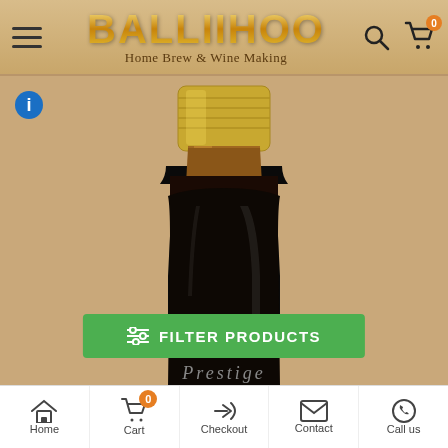[Figure (screenshot): Balliihoo Home Brew & Wine Making website header with logo, hamburger menu, search and cart icons]
[Figure (photo): Close-up of a dark bottle with a gold screw cap showing the neck and top of the bottle against a tan/brown background, with a partially visible 'Prestige' label at the bottom]
FILTER PRODUCTS
[Figure (screenshot): Bottom navigation bar with Home, Cart (badge: 0), Checkout, Contact, and Call us icons]